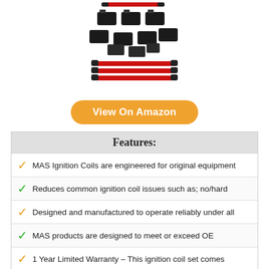[Figure (photo): Product photo of MAS ignition coils and red spark plug wires set, showing multiple black ignition coil packs with red wires.]
View On Amazon
| Features: |
| --- |
| MAS Ignition Coils are engineered for original equipment |
| Reduces common ignition coil issues such as; no/hard |
| Designed and manufactured to operate reliably under all |
| MAS products are designed to meet or exceed OE |
| 1 Year Limited Warranty – This ignition coil set comes |
9. CARBOLE 8 PACK D585 IGNITION COIL AND 748UU 8MM SPARK PLUG WIRES SET